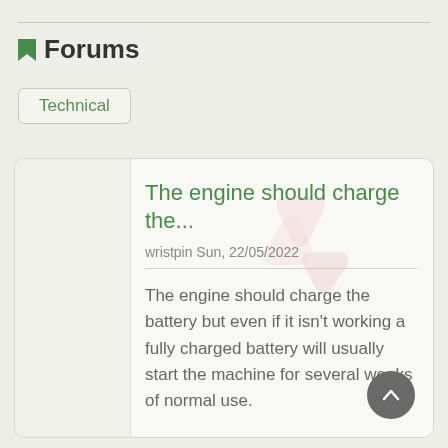Forums
Technical
The engine should charge the...
wristpin Sun, 22/05/2022
The engine should charge the battery but even if it isn't working a fully charged battery will usually start the machine for several weeks of normal use.